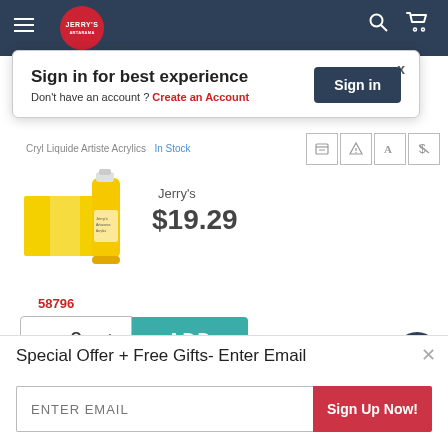[Figure (screenshot): Jerry's Artarama navigation bar with hamburger menu, logo, search icon and cart icon]
Sign in for best experience
Don't have an account ? Create an Account
Sign in
x
Cryl Liquide Artiste Acrylics In Stock
[Figure (photo): Yellow acrylic paint bottle with yellow paint swatch]
58796
Jerry's
$19.29
- 0 + ADD
Special Offer + Free Gifts- Enter Email
ENTER EMAIL
Sign Up Now!